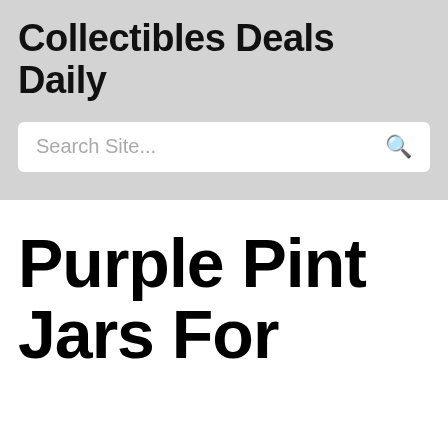Collectibles Deals Daily
Search Site...
Purple Pint Jars For